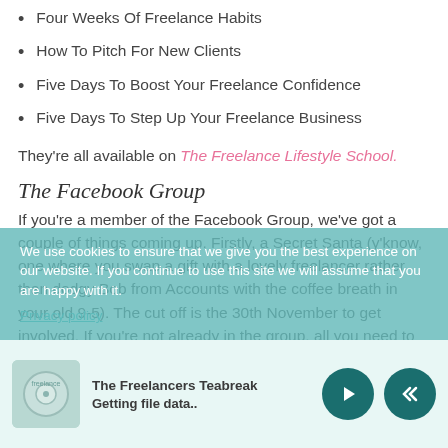Four Weeks Of Freelance Habits
How To Pitch For New Clients
Five Days To Boost Your Freelance Confidence
Five Days To Step Up Your Freelance Business
They're all available on The Freelance Lifestyle School.
The Facebook Group
If you're a member of the Facebook Group, we've got a couple of things coming up. Firstly, a Secret Santa (y'know, one where you swap a gift with a lovely freelancer rather than dodgy Bob from Accounts with the coffee breath in your old 9-5). The cut off is the 30th November to get involved. If you're not already in the group, all you need to do is sign up for the free newsletter
We use cookies to ensure that we give you the best experience on our website. If you continue to use this site we will assume that you are happy with it.
Privacy policy
The Freelancers Teabreak
Getting file data..